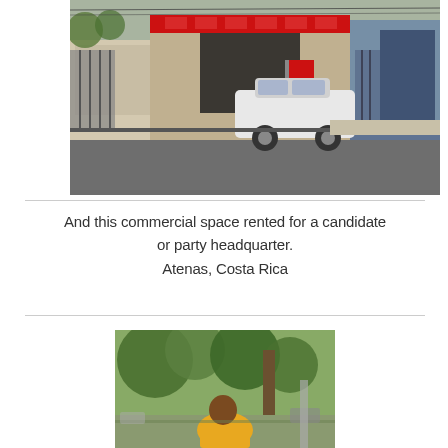[Figure (photo): Street view of a commercial building with red signage and a white SUV parked in front, in Atenas, Costa Rica.]
And this commercial space rented for a candidate or party headquarter.
Atenas, Costa Rica
[Figure (photo): A man in a yellow shirt sitting outdoors among trees, likely in a park or plaza in Costa Rica.]